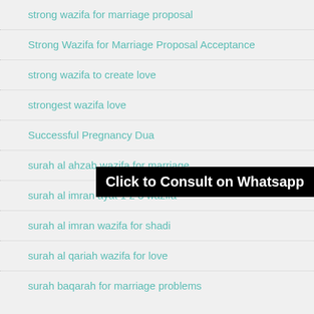strong wazifa for marriage proposal
Strong Wazifa for Marriage Proposal Acceptance
strong wazifa to create love
strongest wazifa love
Successful Pregnancy Dua
surah al ahzab wazifa for marriage
surah al imran ayat 1 2 3 wazifa
surah al imran wazifa for shadi
surah al qariah wazifa for love
surah baqarah for marriage problems